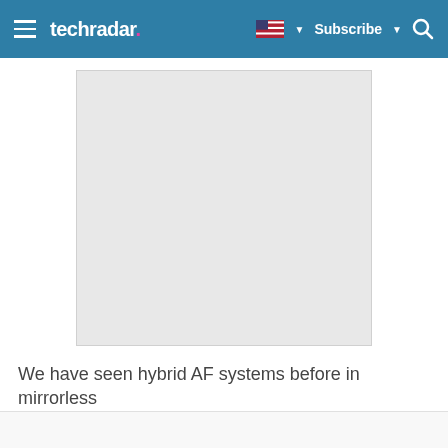techradar | Subscribe
[Figure (photo): Light gray placeholder image rectangle, representing a photo of hybrid AF mirrorless camera content]
We have seen hybrid AF systems before in mirrorless